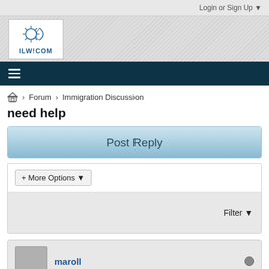Login or Sign Up ▼
[Figure (logo): ILW.COM logo with sun/globe icon]
☰ (navigation menu)
🏠 > Forum > Immigration Discussion
need help
Post Reply
+ More Options ▾
Filter ▼
maroll